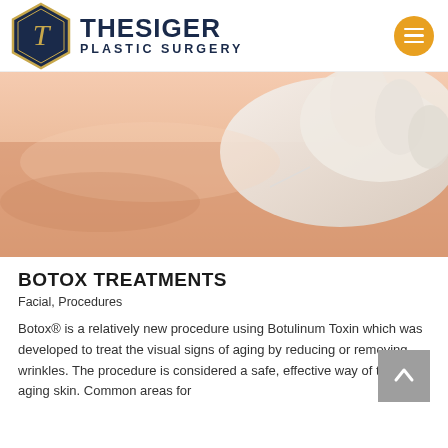[Figure (logo): Thesiger Plastic Surgery logo: dark navy hexagon with stylized T, text THESIGER PLASTIC SURGERY in navy, orange hamburger menu circle button]
[Figure (photo): Close-up photo of a gloved hand administering an injection into skin, warm peach/skin tones, medical/cosmetic procedure context]
BOTOX TREATMENTS
Facial, Procedures
Botox® is a relatively new procedure using Botulinum Toxin which was developed to treat the visual signs of aging by reducing or removing wrinkles. The procedure is considered a safe, effective way of treating aging skin. Common areas for